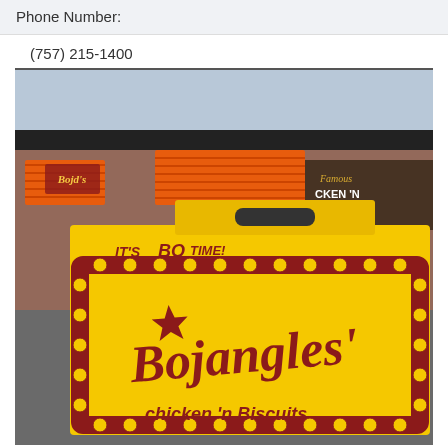Phone Number:
(757) 215-1400
[Figure (photo): Photo of a person holding a yellow Bojangles' Famous Chicken 'n Biscuits takeout box with red lettering reading 'IT'S BO TIME!' and 'Bojangles' Chicken 'n Biscuits', with a Bojangles' restaurant building visible in the background featuring orange awnings.]